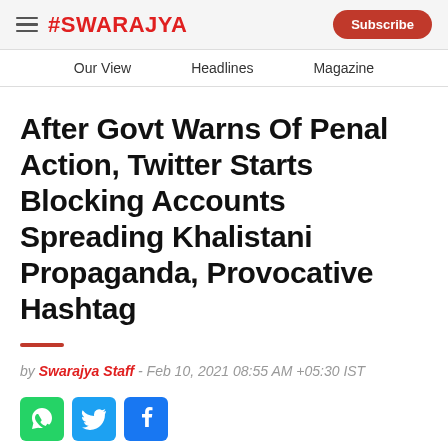#SWARAJYA  Subscribe
Our View   Headlines   Magazine
After Govt Warns Of Penal Action, Twitter Starts Blocking Accounts Spreading Khalistani Propaganda, Provocative Hashtag
by Swarajya Staff - Feb 10, 2021 08:55 AM +05:30 IST